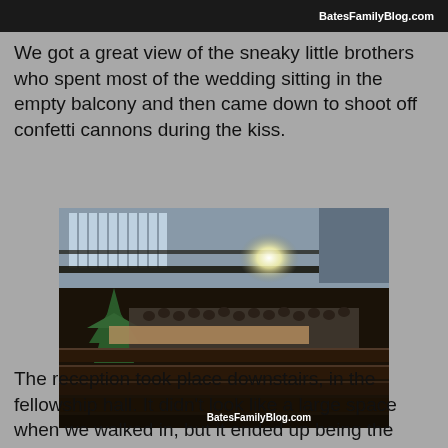[Figure (photo): Top strip of a photo showing BatesFamilyBlog.com watermark on dark background, partial image of a church/venue interior.]
We got a great view of the sneaky little brothers who spent most of the wedding sitting in the empty balcony and then came down to shoot off confetti cannons during the kiss.
[Figure (photo): Interior of a large church/venue during a wedding ceremony. Rows of dark pews fill the foreground, a large crowd of guests is seated, a Christmas tree is visible on the left, large windows line the upper walls, and a bright stage light is visible in the background. Watermark reads BatesFamilyBlog.com.]
The reception took place downstairs, in the fellowship hall. It didn't look like a large space when we walked in, but it ended up being the perfect size.